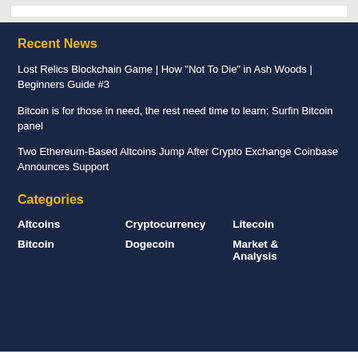Recent News
Lost Relics Blockchain Game | How "Not To Die" in Ash Woods | Beginners Guide #3
Bitcoin is for those in need, the rest need time to learn: Surfin Bitcoin panel
Two Ethereum-Based Altcoins Jump After Crypto Exchange Coinbase Announces Support
Categories
Altcoins
Cryptocurrency
Litecoin
Bitcoin
Dogecoin
Market & Analysis